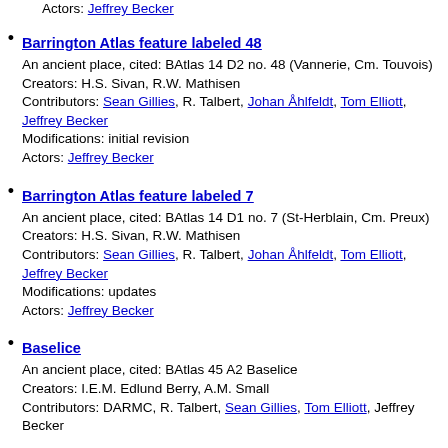Actors: Jeffrey Becker
Barrington Atlas feature labeled 48
An ancient place, cited: BAtlas 14 D2 no. 48 (Vannerie, Cm. Touvois)
Creators: H.S. Sivan, R.W. Mathisen
Contributors: Sean Gillies, R. Talbert, Johan Åhlfeldt, Tom Elliott, Jeffrey Becker
Modifications: initial revision
Actors: Jeffrey Becker
Barrington Atlas feature labeled 7
An ancient place, cited: BAtlas 14 D1 no. 7 (St-Herblain, Cm. Preux)
Creators: H.S. Sivan, R.W. Mathisen
Contributors: Sean Gillies, R. Talbert, Johan Åhlfeldt, Tom Elliott, Jeffrey Becker
Modifications: updates
Actors: Jeffrey Becker
Baselice
An ancient place, cited: BAtlas 45 A2 Baselice
Creators: I.E.M. Edlund Berry, A.M. Small
Contributors: DARMC, R. Talbert, Sean Gillies, Tom Elliott, Jeffrey Becker